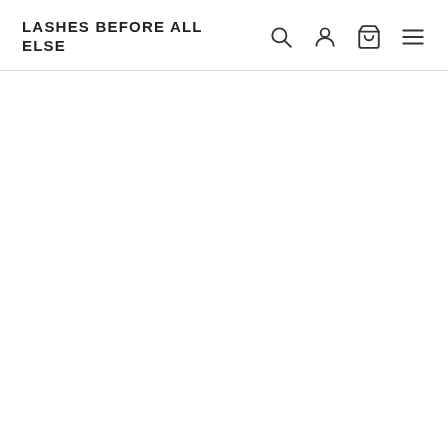LASHES BEFORE ALL ELSE
[Figure (screenshot): Navigation bar with search, user account, shopping bag, and hamburger menu icons on the right side]